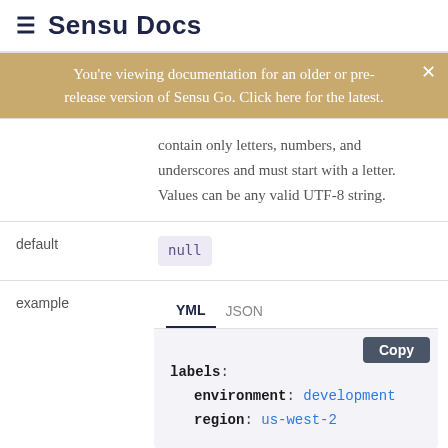≡ Sensu Docs
You're viewing documentation for an older or pre-release version of Sensu Go. Click here for the latest.
contain only letters, numbers, and underscores and must start with a letter. Values can be any valid UTF-8 string.
|  |  |
| --- | --- |
| default | null |
| example | YML / JSON
labels:
  environment: development
  region: us-west-2 |